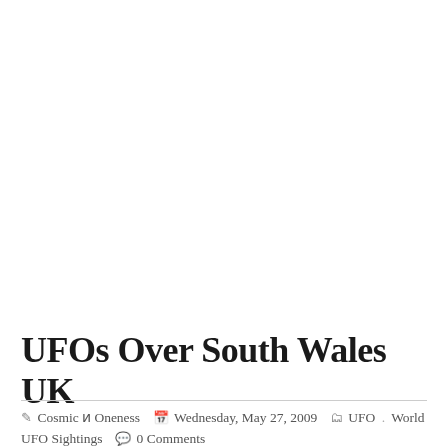UFOs Over South Wales UK
✎ Cosmic ᴎ Oneness  📅 Wednesday, May 27, 2009  🗂 UFO . World UFO Sightings  💬 0 Comments